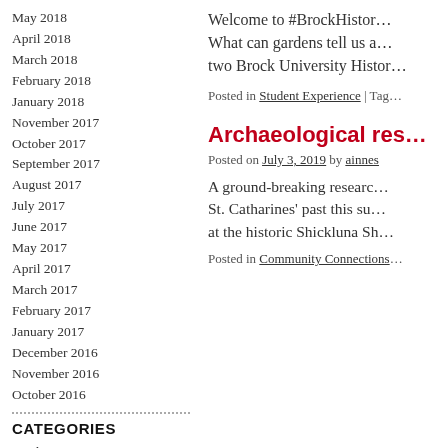May 2018
April 2018
March 2018
February 2018
January 2018
November 2017
October 2017
September 2017
August 2017
July 2017
June 2017
May 2017
April 2017
March 2017
February 2017
January 2017
December 2016
November 2016
October 2016
CATEGORIES
Alumni
Community Connections
News
Program Profile
Welcome to #BrockHistor… What can gardens tell us a… two Brock University Histor…
Posted in Student Experience | Tag…
Archaeological res…
Posted on July 3, 2019 by ainnes
A ground-breaking researc… St. Catharines' past this su… at the historic Shickluna Sh…
Posted in Community Connections…